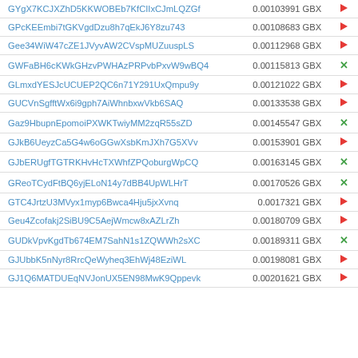| Address | Value | Icon |
| --- | --- | --- |
| GYgX7KCJXZhD5KKWOBEb7KfCIIxCJmLQZGf | 0.00103991 GBX | → |
| GPcKEEmbi7tGKVgdDzu8h7qEkJ6Y8zu743 | 0.00108683 GBX | → |
| Gee34WiW47cZE1JVyvAW2CVspMUZuuspLS | 0.00112968 GBX | → |
| GWFaBH6cKWkGHzvPWHAzPRPvbPxvW9wBQ4 | 0.00115813 GBX | ✕ |
| GLmxdYESJcUCUEP2QC6n71Y291UxQmpu9y | 0.00121022 GBX | → |
| GUCVnSgfftWx6i9gph7AiWhnbxwVkb6SAQ | 0.00133538 GBX | → |
| Gaz9HbupnEpomoiPXWKTwiyMM2zqR55sZD | 0.00145547 GBX | ✕ |
| GJkB6UeyzCa5G4w6oGGwXsbKmJXh7G5XVv | 0.00153901 GBX | → |
| GJbERUgfTGTRKHvHcTXWhfZPQoburgWpCQ | 0.00163145 GBX | ✕ |
| GReoTCydFtBQ6yjELoN14y7dBB4UpWLHrT | 0.00170526 GBX | ✕ |
| GTC4JrtzU3MVyx1myp6Bwca4Hju5jxXvnq | 0.0017321 GBX | → |
| Geu4Zcofakj2SiBU9C5AejWmcw8xAZLrZh | 0.00180709 GBX | → |
| GUDkVpvKgdTb674EM7SahN1s1ZQWWh2sXC | 0.00189311 GBX | ✕ |
| GJUbbK5nNyr8RrcQeWyheq3EhWj48EziWL | 0.00198081 GBX | → |
| GJ1Q6MATDUEqNVJonUX5EN98MwK9Qppevk | 0.00201621 GBX | → |